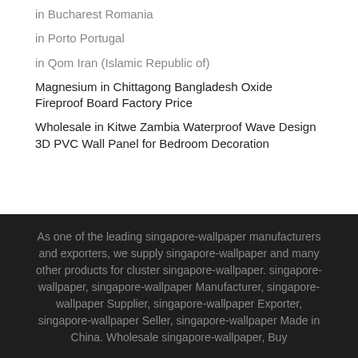in Bucharest Romania
in Porto Portugal
in Qom Iran (Islamic Republic of)
Magnesium in Chittagong Bangladesh Oxide Fireproof Board Factory Price
Wholesale in Kitwe Zambia Waterproof Wave Design 3D PVC Wall Panel for Bedroom Decoration
As one of the leading singapore-wallpaper manufacturers and exporters, we supply singapore-wallpaper and many other products for cluster singapore-wallpaper. singapore-wallpaper, singapore-wallpaper Manufacturer, singapore-wallpaper Supplier, singapore-wallpaper Exporter, singapore-wallpaper Seller, singapore-wallpaper Made in China. Wholesale singapore-wallpaper, Buy